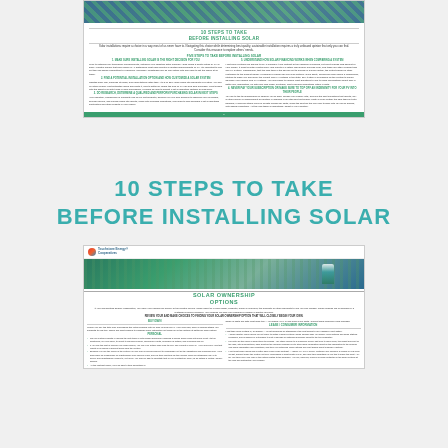[Figure (screenshot): Top portion shows a small document page preview titled '10 STEPS TO TAKE BEFORE INSTALLING SOLAR' with a photo of solar panel workers at top, green headings, two-column text layout, and a green footer bar.]
10 STEPS TO TAKE
BEFORE INSTALLING SOLAR
[Figure (screenshot): Bottom portion shows another document page preview with a logo bar (Touchstone Energy Cooperatives), a photo of a worker installing solar panels, a section titled 'SOLAR OWNERSHIP OPTIONS', introductory text, and two-column layout with subsections on BUY/OWN, LEASING, and SOLAR LOAN CONSUMPTION INFORMATION.]